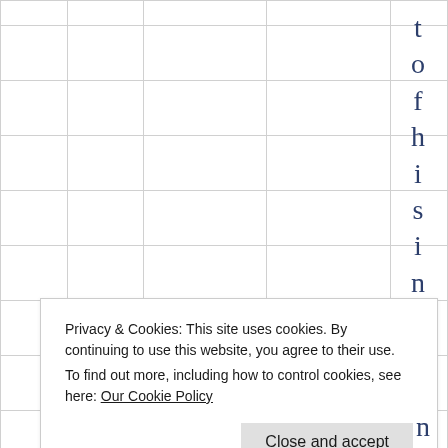[Figure (other): Background table grid with multiple columns and rows, light gray borders on white background]
t o f h i s i n f e
Privacy & Cookies: This site uses cookies. By continuing to use this website, you agree to their use.
To find out more, including how to control cookies, see here: Our Cookie Policy
Close and accept
n